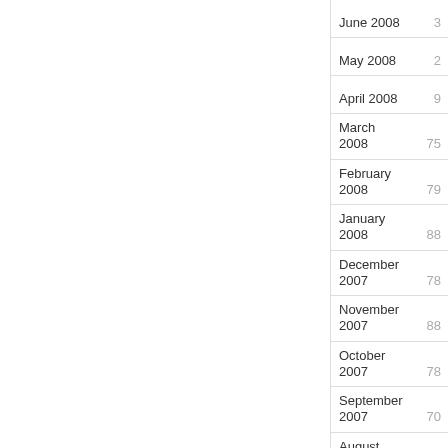| Month | Count |
| --- | --- |
| June 2008 | 3 |
| May 2008 | 2 |
| April 2008 | 9 |
| March 2008 | 75 |
| February 2008 | 79 |
| January 2008 | 88 |
| December 2007 | 78 |
| November 2007 | 88 |
| October 2007 | 78 |
| September 2007 | 70 |
| August 2007 | 70 |
19,959 total tweets